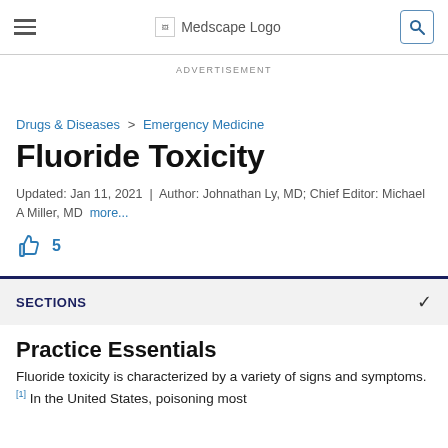Medscape Logo
ADVERTISEMENT
Drugs & Diseases > Emergency Medicine
Fluoride Toxicity
Updated: Jan 11, 2021 | Author: Johnathan Ly, MD; Chief Editor: Michael A Miller, MD more...
5
SECTIONS
Practice Essentials
Fluoride toxicity is characterized by a variety of signs and symptoms. [1] In the United States, poisoning most